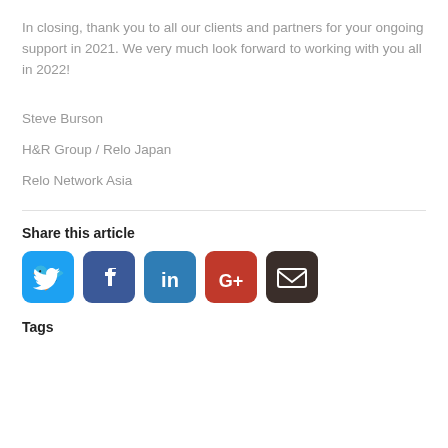In closing, thank you to all our clients and partners for your ongoing support in 2021. We very much look forward to working with you all in 2022!
Steve Burson
H&R Group / Relo Japan
Relo Network Asia
Share this article
[Figure (infographic): Social media share icons: Twitter (blue bird), Facebook (dark blue f), LinkedIn (blue in), Google+ (red G+), Email (dark brown envelope)]
Tags